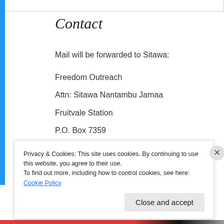Contact
Mail will be forwarded to Sitawa:
Freedom Outreach
Attn: Sitawa Nantambu Jamaa
Fruitvale Station
P.O. Box 7359
Oakland CA 94601
Privacy & Cookies: This site uses cookies. By continuing to use this website, you agree to their use.
To find out more, including how to control cookies, see here: Cookie Policy